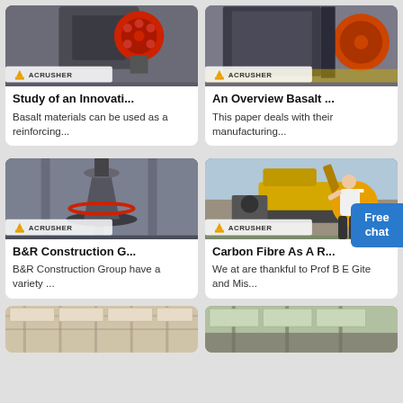[Figure (photo): Industrial crusher machine with red circular component, ACRUSHER branding]
Study of an Innovati...
Basalt materials can be used as a reinforcing...
[Figure (photo): Large crusher machine with orange wheel on blue floor, ACRUSHER branding]
An Overview Basalt ...
This paper deals with their manufacturing...
[Figure (photo): Large industrial cone crusher in factory, ACRUSHER branding]
B&R Construction G...
B&R Construction Group have a variety ...
[Figure (photo): Yellow excavator with jaw crusher attachment, ACRUSHER branding]
Carbon Fibre As A R...
We at are thankful to Prof B E Gite and Mis...
[Figure (photo): Industrial warehouse interior partial view]
[Figure (photo): Industrial warehouse or processing plant interior partial view]